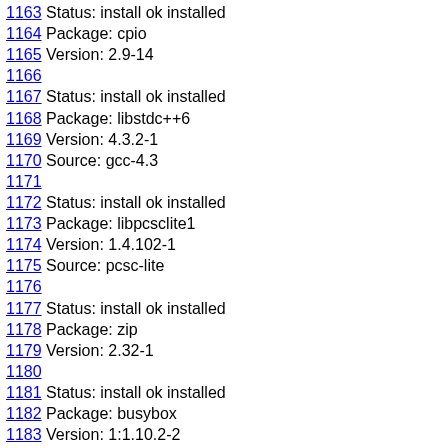1163 Status: install ok installed
1164 Package: cpio
1165 Version: 2.9-14
1166
1167 Status: install ok installed
1168 Package: libstdc++6
1169 Version: 4.3.2-1
1170 Source: gcc-4.3
1171
1172 Status: install ok installed
1173 Package: libpcsclite1
1174 Version: 1.4.102-1
1175 Source: pcsc-lite
1176
1177 Status: install ok installed
1178 Package: zip
1179 Version: 2.32-1
1180
1181 Status: install ok installed
1182 Package: busybox
1183 Version: 1:1.10.2-2
1184
1185 Status: install ok installed
1186 Package: agrep
1187 Version: 4.17-7